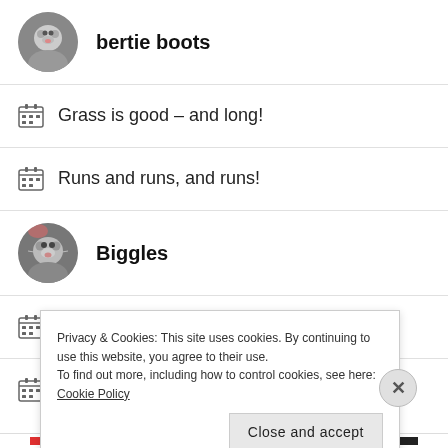bertie boots
Grass is good – and long!
Runs and runs, and runs!
Biggles
We're on holiday
Reflections on the #AtoZChallenge 22
Privacy & Cookies: This site uses cookies. By continuing to use this website, you agree to their use. To find out more, including how to control cookies, see here: Cookie Policy
Close and accept